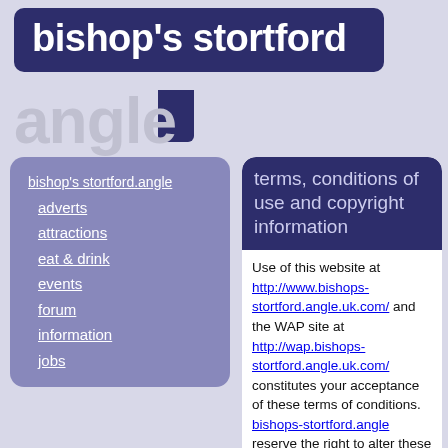bishop's stortford
angle
bishop's stortford.angle
adverts
attractions
eat & drink
events
forum
information
jobs
terms, conditions of use and copyright information
Use of this website at http://www.bishops-stortford.angle.uk.com/ and the WAP site at http://wap.bishops-stortford.angle.uk.com/ constitutes your acceptance of these terms of conditions. bishops-stortford.angle reserve the right to alter these terms and conditions at